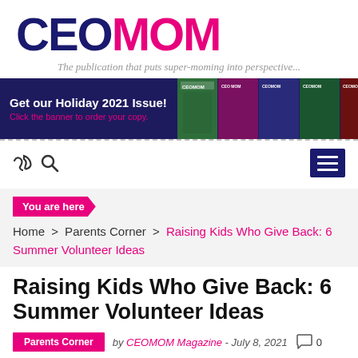[Figure (logo): CEOMOM magazine logo with CEO in dark navy and MOM in hot pink, large bold text]
The publication that puts super-moming into perspective...
[Figure (infographic): Dark navy banner advertisement: Get our Holiday 2021 Issue! Click the banner to order your copy. Right side shows magazine cover thumbnails.]
[Figure (other): Navigation bar with shuffle and search icons on the left, and a navy hamburger menu button on the right]
You are here
Home > Parents Corner > Raising Kids Who Give Back: 6 Summer Volunteer Ideas
Raising Kids Who Give Back: 6 Summer Volunteer Ideas
Parents Corner  by CEOMOM Magazine - July 8, 2021  0